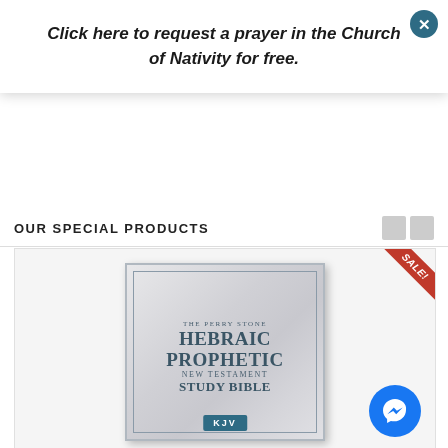Click here to request a prayer in the Church of Nativity for free.
OUR SPECIAL PRODUCTS
[Figure (photo): Book product listing showing 'The Perry Stone Hebraic Prophetic New Testament Study Bible' KJV with marble-look white cover, displayed with a red SALE! ribbon in the top right corner and a Messenger chat button in the bottom right.]